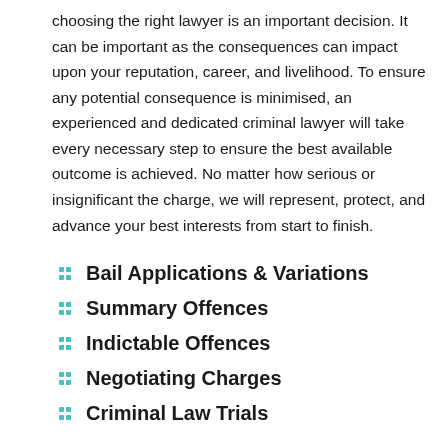choosing the right lawyer is an important decision. It can be important as the consequences can impact upon your reputation, career, and livelihood. To ensure any potential consequence is minimised, an experienced and dedicated criminal lawyer will take every necessary step to ensure the best available outcome is achieved. No matter how serious or insignificant the charge, we will represent, protect, and advance your best interests from start to finish.
Bail Applications & Variations
Summary Offences
Indictable Offences
Negotiating Charges
Criminal Law Trials